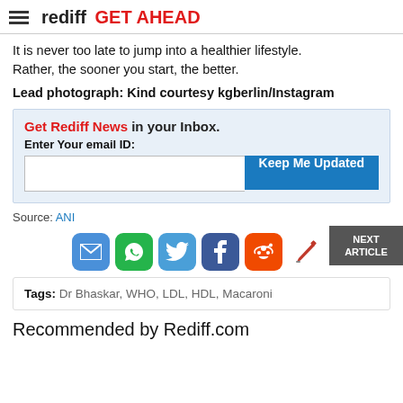rediff GET AHEAD
It is never too late to jump into a healthier lifestyle. Rather, the sooner you start, the better.
Lead photograph: Kind courtesy kgberlin/Instagram
Get Rediff News in your Inbox. Enter Your email ID:
Source: ANI
[Figure (infographic): Social share icons: email, whatsapp, twitter, facebook, reddit, pencil/edit; NEXT ARTICLE button]
Tags: Dr Bhaskar, WHO, LDL, HDL, Macaroni
Recommended by Rediff.com